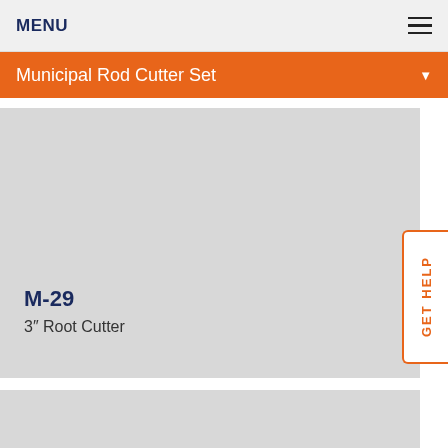MENU
Municipal Rod Cutter Set
M-29
3" Root Cutter
GET HELP